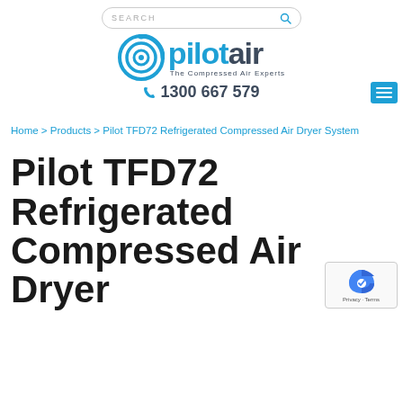[Figure (logo): Pilotair logo with circular swirl icon, 'pilotair' wordmark in blue and dark grey, tagline 'The Compressed Air Experts']
1300 667 579
Home > Products > Pilot TFD72 Refrigerated Compressed Air Dryer System
Pilot TFD72 Refrigerated Compressed Air Dryer